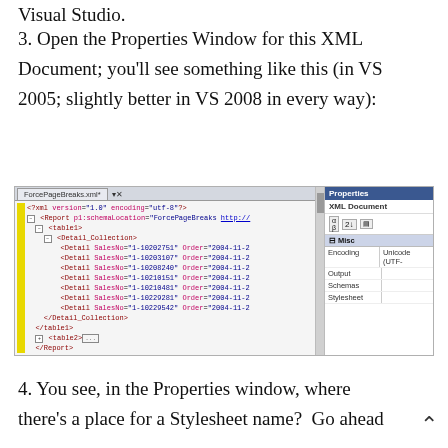Visual Studio.
3. Open the Properties Window for this XML Document; you'll see something like this (in VS 2005; slightly better in VS 2008 in every way):
[Figure (screenshot): Visual Studio IDE screenshot showing ForcePageBreaks.xml open in XML editor with XML content including Report, table1, Detail Collection elements with SalesNo and Order attributes, alongside a Properties panel showing XML Document with Misc section containing Encoding (Unicode UTF-), Output, Schemas, and Stylesheet fields.]
4. You see, in the Properties window, where there's a place for a Stylesheet name?  Go ahead